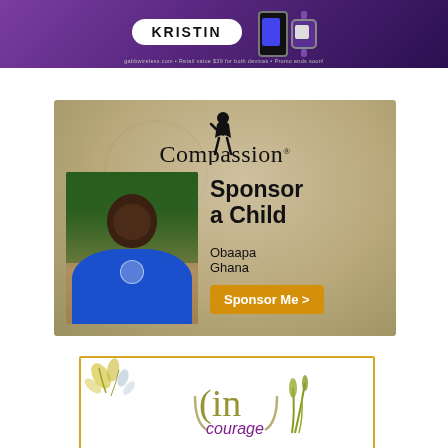[Figure (photo): Gabb Wireless advertisement showing 'KRISTIN' badge with phone and watch devices. Small text: gabbwireless.com • Retail value $39 for both devices • Promo ends soon!]
[Figure (photo): Compassion International advertisement. Logo with figure icon and 'Compassion' text. Photo of a child named Obaapa from Ghana in blue school uniform. Text: 'Sponsor a Child', 'Obaapa', 'Ghana', button 'Sponsor Me >']
[Figure (logo): incourage logo inside a gold-bordered box with leaf decoration. Shows '(in' in olive/gold and 'courage' in purple italic text, with decorative grass/leaf SVG elements.]